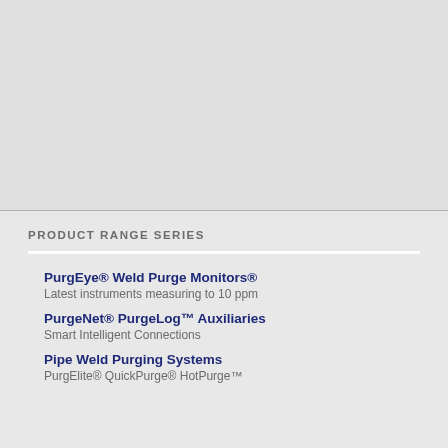[Figure (photo): Large image area at top of page, light gray placeholder]
PRODUCT RANGE SERIES
PurgEye® Weld Purge Monitors® — Latest instruments measuring to 10 ppm
PurgeNet® PurgeLog™ Auxiliaries — Smart Intelligent Connections
Pipe Weld Purging Systems — PurgElite® QuickPurge® HotPurge™